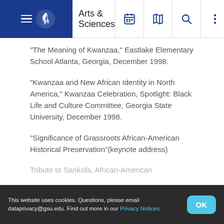Arts & Sciences
“The Meaning of Kwanzaa,” Eastlake Elementary School Atlanta, Georgia, December 1998.
“Kwanzaa and New African Identity in North America,” Kwanzaa Celebration, Spotlight: Black Life and Culture Committee, Georgia State University, December 1998.
“Significance of Grassroots African-American Historical Preservation”(keynote address)
Tribute to Sankofa, African-American
This website uses cookies. Questions, please email dataprivacy@gsu.edu. Find out more in our Privacy Notices.